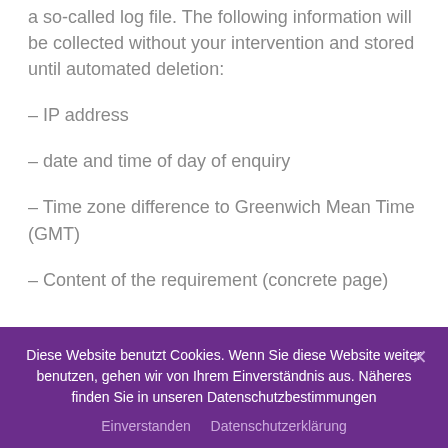a so-called log file. The following information will be collected without your intervention and stored until automated deletion:
– IP address
– date and time of day of enquiry
– Time zone difference to Greenwich Mean Time (GMT)
– Content of the requirement (concrete page)
Diese Website benutzt Cookies. Wenn Sie diese Website weiter benutzen, gehen wir von Ihrem Einverständnis aus. Näheres finden Sie in unseren Datenschutzbestimmungen
Einverstanden   Datenschutzerklärung